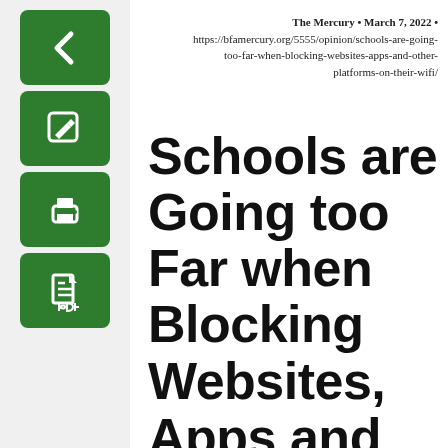[Figure (illustration): Green back arrow button icon]
[Figure (illustration): Green edit/pencil button icon]
[Figure (illustration): Green print button icon]
[Figure (illustration): Green PDF/document button icon]
The Mercury • March 7, 2022 • https://bfamercury.org/5555/opinion/schools-are-going-too-far-when-blocking-websites-apps-and-other-platforms-on-their-wifi/
Schools are Going too Far when Blocking Websites, Apps and Other Platforms on their Wifi.